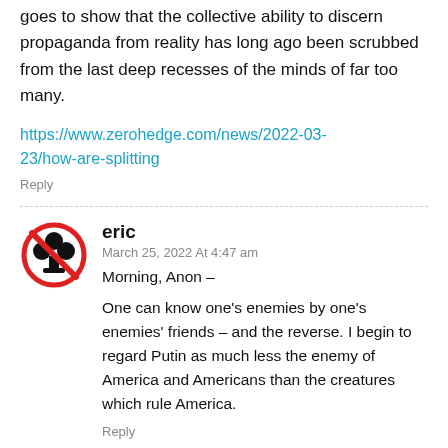goes to show that the collective ability to discern propaganda from reality has long ago been scrubbed from the last deep recesses of the minds of far too many.
https://www.zerohedge.com/news/2022-03-23/how-are-splitting
Reply
[Figure (illustration): Red circle with diagonal bar over a black clover/club symbol — a no-club icon used as a user avatar]
eric
March 25, 2022 At 4:47 am
Morning, Anon –

One can know one's enemies by one's enemies' friends – and the reverse. I begin to regard Putin as much less the enemy of America and Americans than the creatures which rule America.

Reply